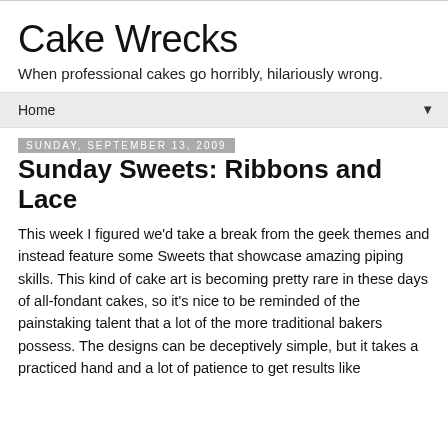Cake Wrecks
When professional cakes go horribly, hilariously wrong.
Home ▼
Sunday, September 13, 2009
Sunday Sweets: Ribbons and Lace
This week I figured we'd take a break from the geek themes and instead feature some Sweets that showcase amazing piping skills. This kind of cake art is becoming pretty rare in these days of all-fondant cakes, so it's nice to be reminded of the painstaking talent that a lot of the more traditional bakers possess. The designs can be deceptively simple, but it takes a practiced hand and a lot of patience to get results like